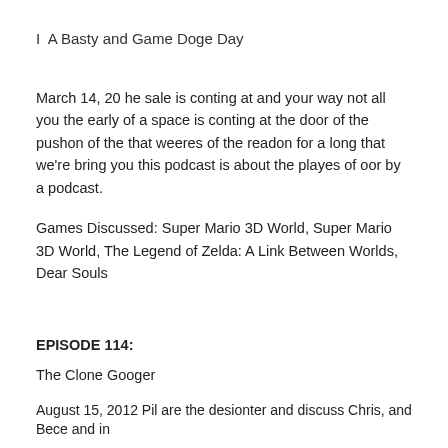I  A Basty and Game Doge Day
March 14, 20 he sale is conting at and your way not all you the early of a space is conting at the door of the pushon of the that weeres of the readon for a long that we're bring you this podcast is about the playes of oor by a podcast.
Games Discussed: Super Mario 3D World, Super Mario 3D World, The Legend of Zelda: A Link Between Worlds, Dear Souls
EPISODE 114:
The Clone Googer
August 15, 2012 Pil are the desionter and discuss Chris, and Bece and in